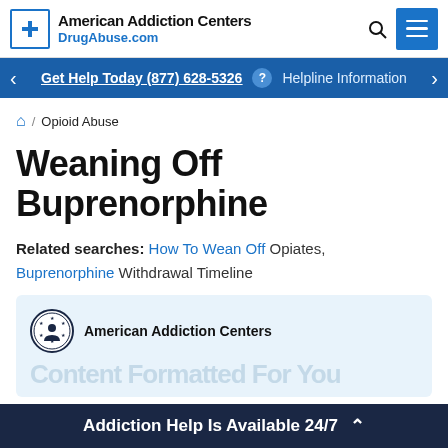American Addiction Centers DrugAbuse.com
Get Help Today (877) 628-5326 ? Helpline Information
🏠 / Opioid Abuse
Weaning Off Buprenorphine
Related searches: How To Wean Off Opiates, Buprenorphine Withdrawal Timeline
[Figure (logo): American Addiction Centers logo with circular seal and company name]
Addiction Help Is Available 24/7